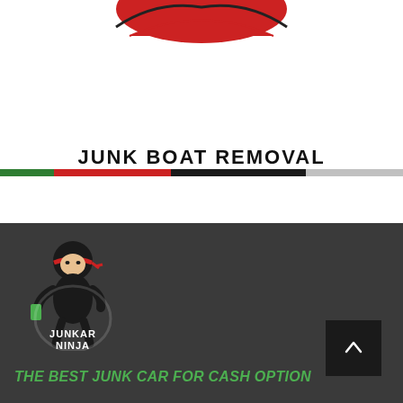[Figure (logo): Red junk car / boat logo partially visible at top]
JUNK BOAT REMOVAL
[Figure (logo): Junkar Ninja logo - ninja character with black outfit and red headband, with text JUNKAR NINJA]
THE BEST JUNK CAR FOR CASH OPTION